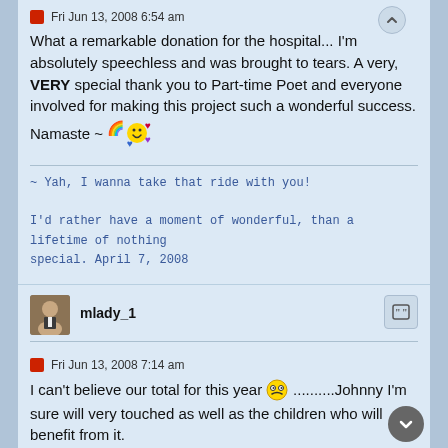Fri Jun 13, 2008 6:54 am
What a remarkable donation for the hospital... I'm absolutely speechless and was brought to tears. A very, VERY special thank you to Part-time Poet and everyone involved for making this project such a wonderful success. Namaste ~
~ Yah, I wanna take that ride with you!
I'd rather have a moment of wonderful, than a lifetime of nothing special. April 7, 2008
mlady_1
Fri Jun 13, 2008 7:14 am
I can't believe our total for this year .......... Johnny I'm sure will very touched as well as the children who will benefit from it.

Nice work everyone